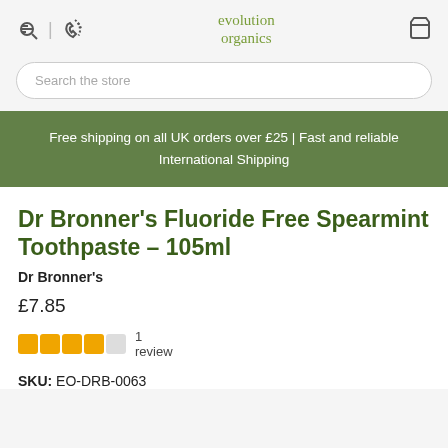evolution organics
Search the store
Free shipping on all UK orders over £25 | Fast and reliable International Shipping
Dr Bronner's Fluoride Free Spearmint Toothpaste – 105ml
Dr Bronner's
£7.85
1 review
SKU: EO-DRB-0063